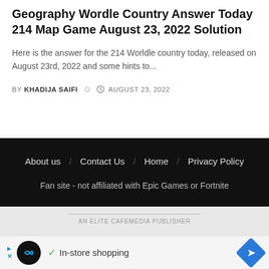Geography Wordle Country Answer Today 214 Map Game August 23, 2022 Solution
Here is the answer for the 214 Worldle country today, released on August 23rd, 2022 and some hints to...
BY KHADIJA SAIFI  ⊙ AUGUST 23, 2022
About us / Contact Us / Home / Privacy Policy
Fan site - not affiliated with Epic Games or Fortnite
AN ELITE CAFEMEDIA PUBLISHER
[Figure (other): Advertisement banner with circular logo, checkmark, 'In-store shopping' text, and navigation arrow icon]